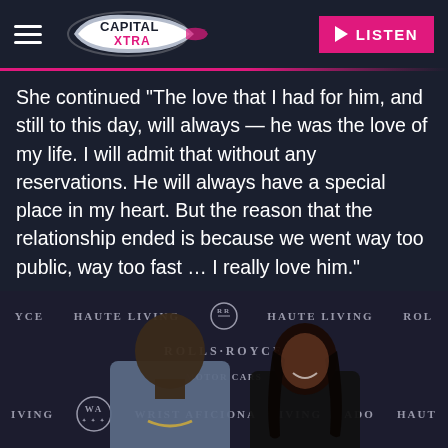Capital Xtra — LISTEN
She continued "The love that I had for him, and still to this day, will always — he was the love of my life. I will admit that without any reservations. He will always have a special place in my heart. But the reason that the relationship ended is because we went way too public, way too fast … I really love him."
[Figure (photo): A man and woman posing together at a Haute Living and Rolls-Royce event. The man wears a plaid blazer and gold chain; the woman wears a black top. Branded backdrop behind them with Haute Living, Rolls-Royce Motor Cars, and Wrist Aficionado logos.]